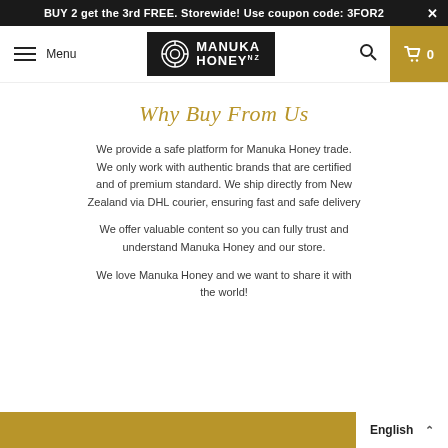BUY 2 get the 3rd FREE. Storewide! Use coupon code: 3FOR2 ×
[Figure (logo): Manuka Honey NZ logo on black background with decorative circular icon]
Why Buy From Us
We provide a safe platform for Manuka Honey trade. We only work with authentic brands that are certified and of premium standard. We ship directly from New Zealand via DHL courier, ensuring fast and safe delivery
We offer valuable content so you can fully trust and understand Manuka Honey and our store.
We love Manuka Honey and we want to share it with the world!
English